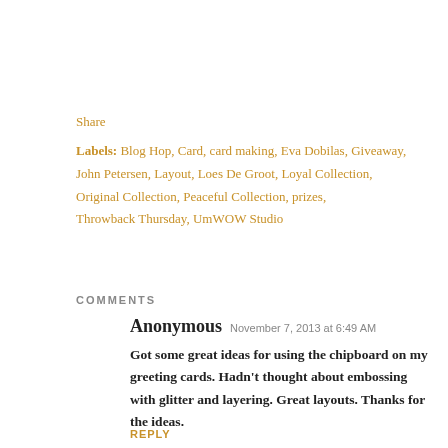Share
Labels: Blog Hop, Card, card making, Eva Dobilas, Giveaway, John Petersen, Layout, Loes De Groot, Loyal Collection, Original Collection, Peaceful Collection, prizes, Throwback Thursday, UmWOW Studio
COMMENTS
Anonymous  November 7, 2013 at 6:49 AM
Got some great ideas for using the chipboard on my greeting cards. Hadn't thought about embossing with glitter and layering. Great layouts. Thanks for the ideas.
REPLY